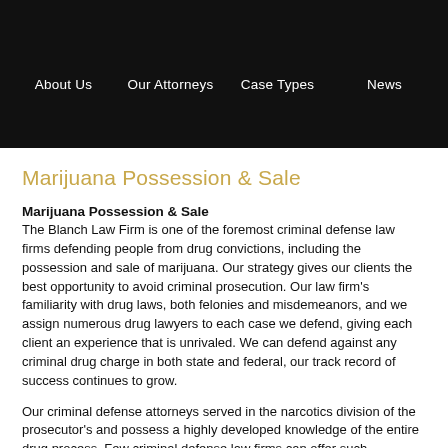About Us  Our Attorneys  Case Types  News
Marijuana Possession & Sale
Marijuana Possession & Sale
The Blanch Law Firm is one of the foremost criminal defense law firms defending people from drug convictions, including the possession and sale of marijuana. Our strategy gives our clients the best opportunity to avoid criminal prosecution. Our law firm's familiarity with drug laws, both felonies and misdemeanors, and we assign numerous drug lawyers to each case we defend, giving each client an experience that is unrivaled. We can defend against any criminal drug charge in both state and federal, our track record of success continues to grow.
Our criminal defense attorneys served in the narcotics division of the prosecutor's and possess a highly developed knowledge of the entire drug process. Few criminal defense law firms can offer such experience.
Some of our criminal defense attorneys served in the narcotics division of the attorneys' offices and have a sophisticated knowledge of the entire drug process. Few any criminal defense law firms can offer such experience.